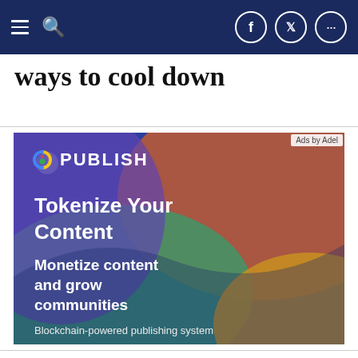Navigation bar with menu, search, Facebook, Twitter, and more icons
ways to cool down
[Figure (advertisement): PUBLISH ad: Tokenize Your Content. Monetize content and grow communities. Blockchain-powered publishing system. Colorful abstract background.]
Ads by Adel
Most Popular
1  Microsoft and Activision Blizzard face a